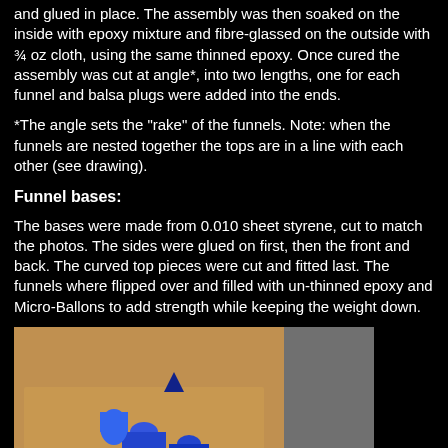and glued in place. The assembly was then soaked on the inside with epoxy mixture and fibre-glassed on the outside with ¾ oz cloth, using the same thinned epoxy. Once cured the assembly was cut at angle*, into two lengths, one for each funnel and balsa plugs were added into the ends.
*The angle sets the "rake" of the funnels. Note: when the funnels are nested together the tops are in a line with each other (see drawing).
Funnel bases:
The bases were made from 0.010 sheet styrene, cut to match the photos. The sides were glued on first, then the front and back. The curved top pieces were cut and fitted last. The funnels where flipped over and filled with un-thinned epoxy and Micro-Ballons to add strength while keeping the weight down.
[Figure (photo): Photo of funnel bases construction on a workbench, showing blue funnel components and construction materials on a brown cardboard surface.]